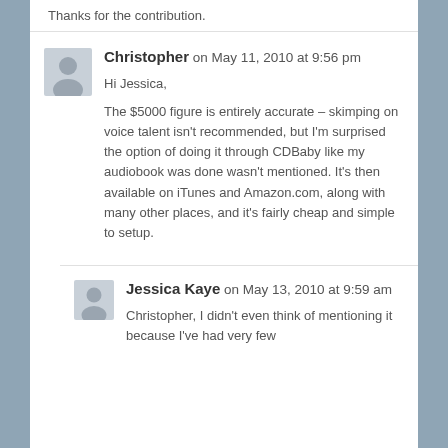Thanks for the contribution.
Christopher on May 11, 2010 at 9:56 pm
Hi Jessica,

The $5000 figure is entirely accurate – skimping on voice talent isn't recommended, but I'm surprised the option of doing it through CDBaby like my audiobook was done wasn't mentioned. It's then available on iTunes and Amazon.com, along with many other places, and it's fairly cheap and simple to setup.
Jessica Kaye on May 13, 2010 at 9:59 am
Christopher, I didn't even think of mentioning it because I've had very few